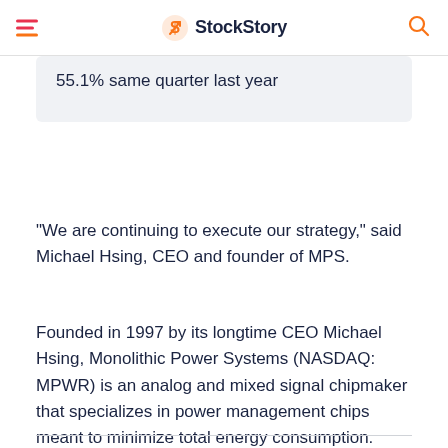StockStory
55.1% same quarter last year
“We are continuing to execute our strategy,” said Michael Hsing, CEO and founder of MPS.
Founded in 1997 by its longtime CEO Michael Hsing, Monolithic Power Systems (NASDAQ: MPWR) is an analog and mixed signal chipmaker that specializes in power management chips meant to minimize total energy consumption.